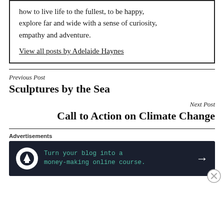how to live life to the fullest, to be happy, explore far and wide with a sense of curiosity, empathy and adventure.
View all posts by Adelaide Haynes
Previous Post
Sculptures by the Sea
Next Post
Call to Action on Climate Change
Advertisements
[Figure (infographic): Dark advertisement banner: Turn your blog into a money-making online course. with arrow and icon.]